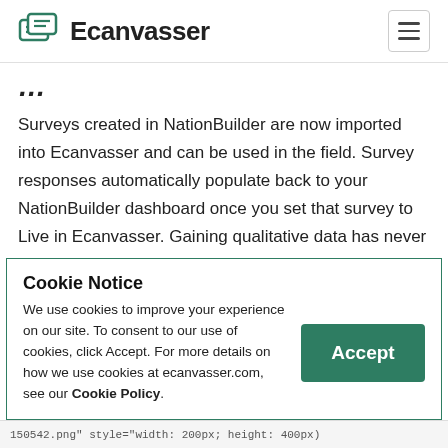Ecanvasser
...
Surveys created in NationBuilder are now imported into Ecanvasser and can be used in the field. Survey responses automatically populate back to your NationBuilder dashboard once you set that survey to Live in Ecanvasser. Gaining qualitative data has never been so easy.
Cookie Notice
We use cookies to improve your experience on our site. To consent to our use of cookies, click Accept. For more details on how we use cookies at ecanvasser.com, see our Cookie Policy.
150542.png" style="width: 200px; height: 400px)